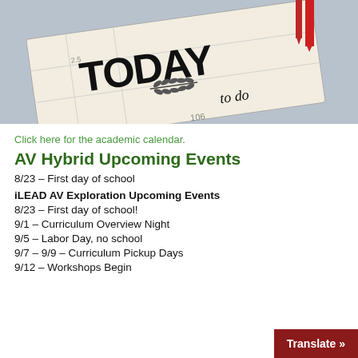[Figure (photo): Photo of a planner/notebook with 'TODAY to do' text, red ribbon bookmark, on a light blue-gray background]
Click here for the academic calendar.
AV Hybrid Upcoming Events
8/23 – First day of school
iLEAD AV Exploration Upcoming Events
8/23 – First day of school!
9/1 – Curriculum Overview Night
9/5 – Labor Day, no school
9/7 – 9/9 – Curriculum Pickup Days
9/12 – Workshops Begin